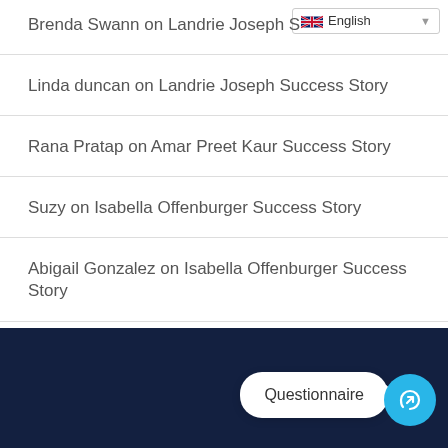Brenda Swann on Landrie Joseph S...
Linda duncan on Landrie Joseph Success Story
Rana Pratap on Amar Preet Kaur Success Story
Suzy on Isabella Offenburger Success Story
Abigail Gonzalez on Isabella Offenburger Success Story
Questionnaire